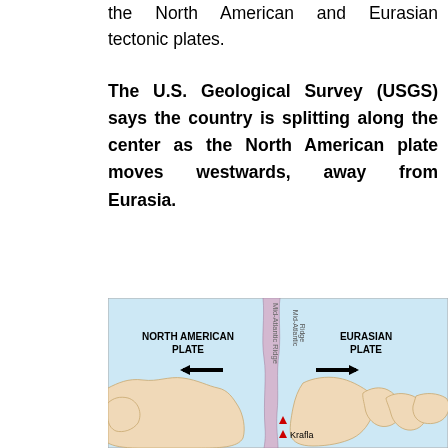the North American and Eurasian tectonic plates.
The U.S. Geological Survey (USGS) says the country is splitting along the center as the North American plate moves westwards, away from Eurasia.
[Figure (map): Map showing the North American Plate and Eurasian Plate separated by the Mid-Atlantic Ridge. Arrows indicate the North American plate moving left (westward) and the Eurasian plate moving right. Krafla volcano location is marked with a red triangle on the ridge near Iceland.]